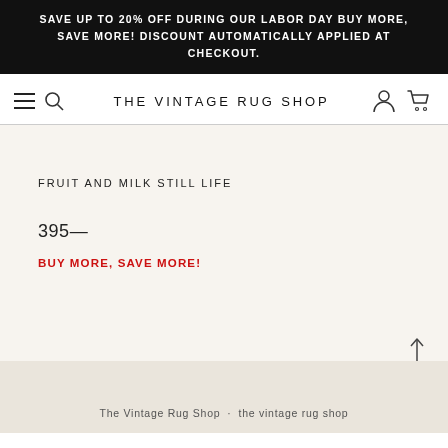SAVE UP TO 20% OFF DURING OUR LABOR DAY BUY MORE, SAVE MORE! DISCOUNT AUTOMATICALLY APPLIED AT CHECKOUT.
THE VINTAGE RUG SHOP
FRUIT AND MILK STILL LIFE
395—
BUY MORE, SAVE MORE!
The Vintage Rug Shop...